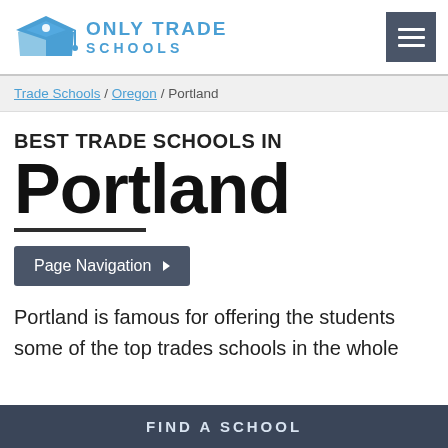Only Trade Schools
Trade Schools / Oregon / Portland
BEST TRADE SCHOOLS IN Portland
Page Navigation
Portland is famous for offering the students some of the top trades schools in the whole
FIND A SCHOOL